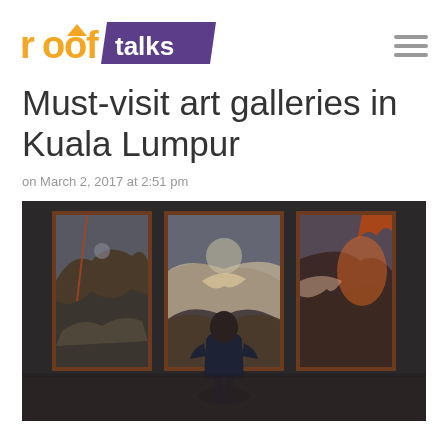roof talks
Must-visit art galleries in Kuala Lumpur
on March 2, 2017 at 2:51 pm
[Figure (photo): Person standing with back to camera, viewing three large dramatic paintings hung on a dark gallery wall. The triptych paintings depict chaotic battle or apocalyptic scenes with horses, figures, and vivid colors.]